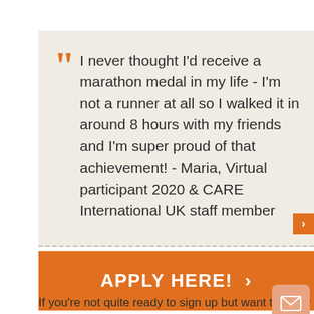I never thought I'd receive a marathon medal in my life - I'm not a runner at all so I walked it in around 8 hours with my friends and I'm super proud of that achievement! - Maria, Virtual participant 2020 & CARE International UK staff member
APPLY HERE! >
If you're not quite ready to sign up but want to know mor